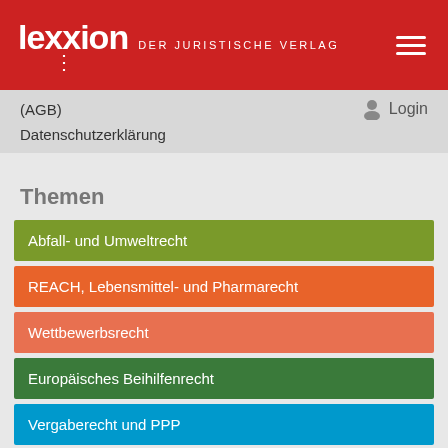lexxion DER JURISTISCHE VERLAG
(AGB)
Login
Datenschutzerklärung
Themen
Abfall- und Umweltrecht
REACH, Lebensmittel- und Pharmarecht
Wettbewerbsrecht
Europäisches Beihilfenrecht
Vergaberecht und PPP
Europäische Struktur- und Investitionsfonds
Datenschutz- und Auftragsvergaberecht (partial)